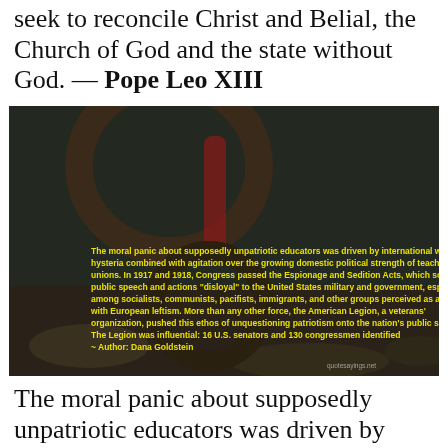seek to reconcile Christ and Belial, the Church of God and the state without God. — Pope Leo XIII
[Figure (photo): Dark photograph of a motocross motorcycle in an outdoor rocky setting. Overlaid yellow bold text contains a quote by Author Dana Goldstein about the moral panic about unpatriotic educators, Espionage and Sedition Acts, and the American Legion. Attribution reads '~ Author: Dana Goldstein'. Watermark 'quotesayings.net' in bottom right.]
The moral panic about supposedly unpatriotic educators was driven by international war hysteria combined with agitation over the growing domestic political strength of teachers unions. In 1917 and 1918, Congress passed the Espionage and Sedition